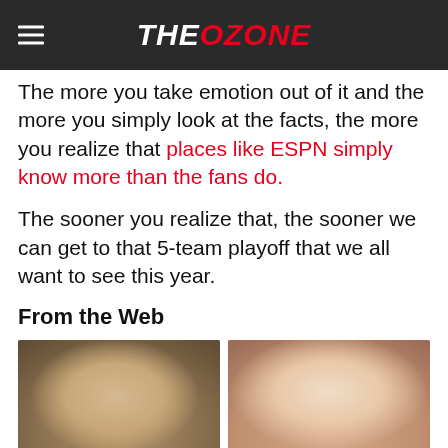THE OZONE
The more you take emotion out of it and the more you simply look at the facts, the more you realize that places like ESPN simply know more than the fans do.
The sooner you realize that, the sooner we can get to that 5-team playoff that we all want to see this year.
From the Web
[Figure (photo): Photo of a young boy with blonde-brown hair]
[Figure (photo): Photo of a blonde woman smiling]